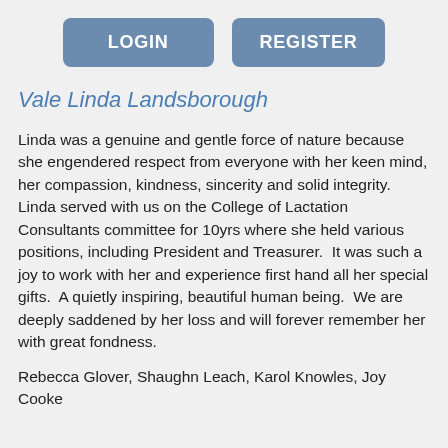[Figure (screenshot): Two blue rounded rectangle buttons labeled LOGIN and REGISTER side by side]
Vale Linda Landsborough
Linda was a genuine and gentle force of nature because she engendered respect from everyone with her keen mind, her compassion, kindness, sincerity and solid integrity. Linda served with us on the College of Lactation Consultants committee for 10yrs where she held various positions, including President and Treasurer.  It was such a joy to work with her and experience first hand all her special gifts.  A quietly inspiring, beautiful human being.  We are deeply saddened by her loss and will forever remember her with great fondness.
Rebecca Glover, Shaughn Leach, Karol Knowles, Joy Cooke